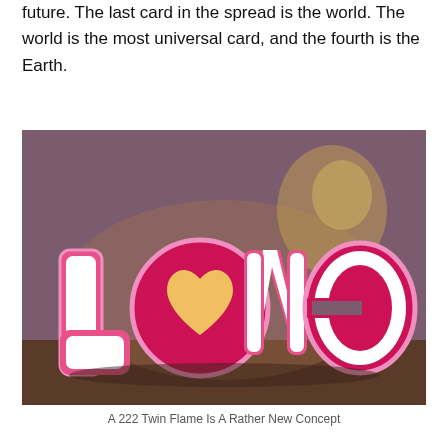future. The last card in the spread is the world. The world is the most universal card, and the fourth is the Earth.
[Figure (photo): A decorative 'LOVE' sign with pink and red 3D letters. The 'O' is a red circle with a heart-shaped cutout glowing with warm light. Letters are white-faced with pink/red borders. A blurred golden figurine is visible in the background.]
A 222 Twin Flame Is A Rather New Concept